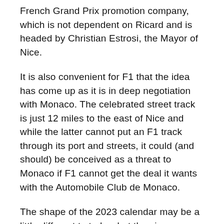French Grand Prix promotion company, which is not dependent on Ricard and is headed by Christian Estrosi, the Mayor of Nice.
It is also convenient for F1 that the idea has come up as it is in deep negotiation with Monaco. The celebrated street track is just 12 miles to the east of Nice and while the latter cannot put an F1 track through its port and streets, it could (and should) be conceived as a threat to Monaco if F1 cannot get the deal it wants with the Automobile Club de Monaco.
The shape of the 2023 calendar may be a little different to today, but the signs are that it will begin with a big test/F1 launch in Bahrain, followed a week later by the first race. There will then be a weekend off before a race in Saudi Arabia, followed immediately by Australia. It is not clear what will